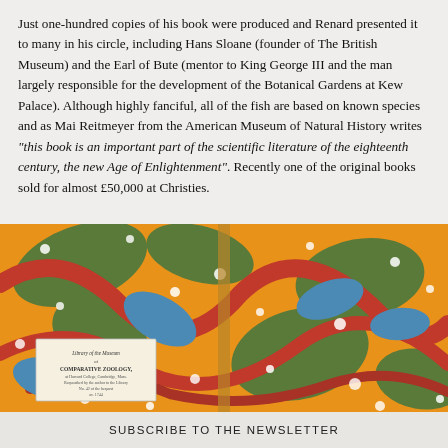Just one-hundred copies of his book were produced and Renard presented it to many in his circle, including Hans Sloane (founder of The British Museum) and the Earl of Bute (mentor to King George III and the man largely responsible for the development of the Botanical Gardens at Kew Palace). Although highly fanciful, all of the fish are based on known species and as Mai Reitmeyer from the American Museum of Natural History writes "this book is an important part of the scientific literature of the eighteenth century, the new Age of Enlightenment". Recently one of the original books sold for almost £50,000 at Christies.
[Figure (photo): Open book showing marbled endpapers in orange, green, blue, red and white swirling patterns, with a small printed title page visible on the left inside cover.]
SUBSCRIBE TO THE NEWSLETTER